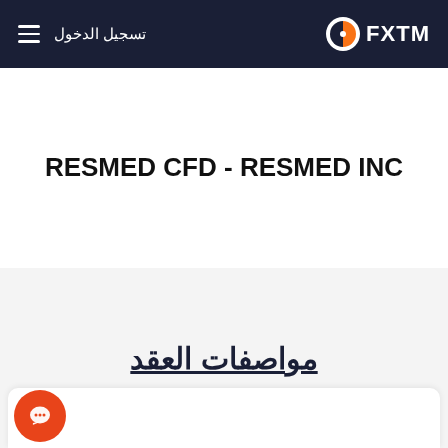تسجيل الدخول | FXTM
RESMED CFD - RESMED INC
مواصفات العقد